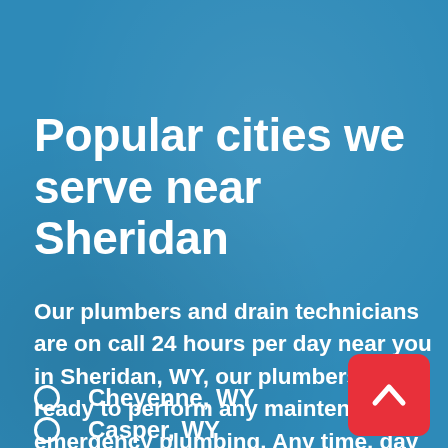Popular cities we serve near Sheridan
Our plumbers and drain technicians are on call 24 hours per day near you in Sheridan, WY, our plumbers are ready to perform any maintenance or emergency plumbing. Any time, day or night.
Cheyenne, WY
Casper, WY